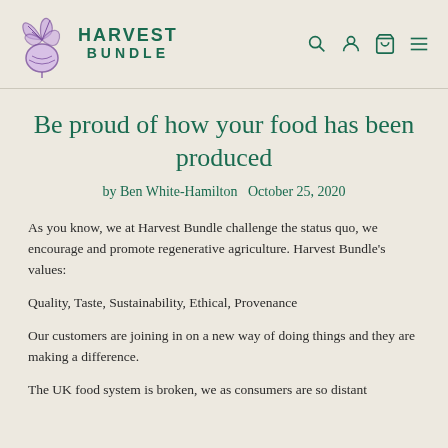HARVEST BUNDLE
Be proud of how your food has been produced
by Ben White-Hamilton   October 25, 2020
As you know, we at Harvest Bundle challenge the status quo, we encourage and promote regenerative agriculture. Harvest Bundle's values:
Quality, Taste, Sustainability, Ethical, Provenance
Our customers are joining in on a new way of doing things and they are making a difference.
The UK food system is broken, we as consumers are so distant